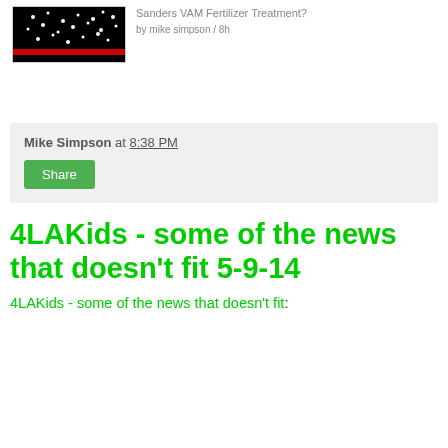[Figure (photo): Thumbnail image with black background, white dots scattered across, and a red horizontal bar near the bottom]
Sanders VAM Fertilizer Treatment?
by mike simpson / 8h
Mike Simpson at 8:38 PM
Share
4LAKids - some of the news that doesn't fit 5-9-14
4LAKids - some of the news that doesn't fit: